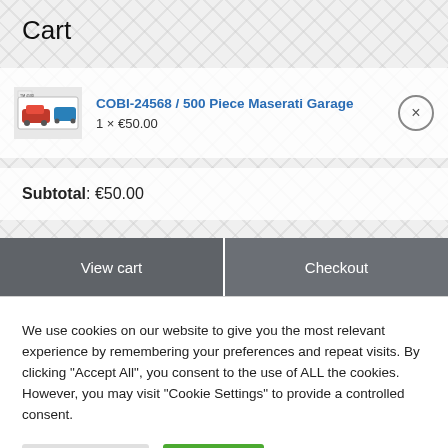Cart
COBI-24568 / 500 Piece Maserati Garage
1 × €50.00
Subtotal: €50.00
View cart
Checkout
We use cookies on our website to give you the most relevant experience by remembering your preferences and repeat visits. By clicking "Accept All", you consent to the use of ALL the cookies. However, you may visit "Cookie Settings" to provide a controlled consent.
Cookie Settings
Accept All